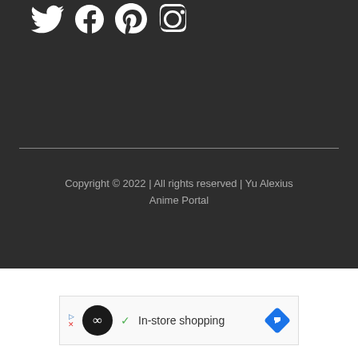[Figure (illustration): Social media icons (Twitter, Facebook, Pinterest, Instagram) in white on dark background]
Copyright © 2022 | All rights reserved | Yu Alexius Anime Portal
[Figure (illustration): Advertisement banner with infinity loop icon and 'In-store shopping' text with navigation arrow]